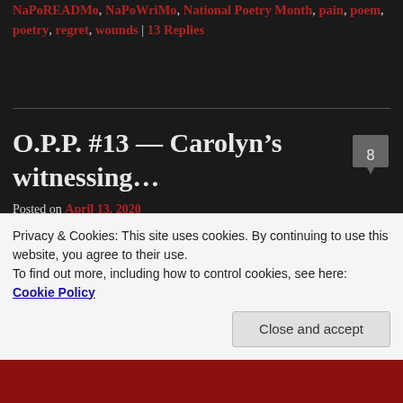NaPoREADMo, NaPoWriMo, National Poetry Month, pain, poem, poetry, regret, wounds | 13 Replies
O.P.P. #13 — Carolyn's witnessing...
Posted on April 13, 2020
Day 13 of National Poetry Month.
And we are looking at things that we do not want to look at.
Privacy & Cookies: This site uses cookies. By continuing to use this website, you agree to their use.
To find out more, including how to control cookies, see here: Cookie Policy
Close and accept